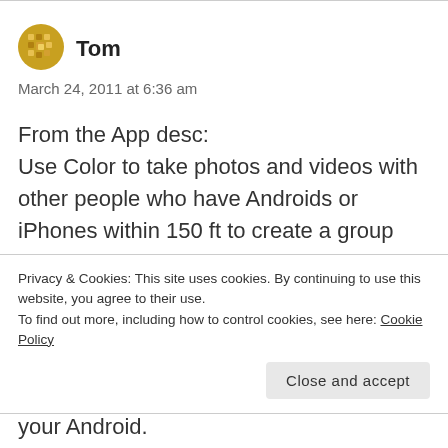[Figure (illustration): Circular avatar icon with gold/yellow mosaic pattern]
Tom
March 24, 2011 at 6:36 am
From the App desc:
Use Color to take photos and videos with other people who have Androids or iPhones within 150 ft to create a group album.
For parties, play dates, lunch? You get their
Privacy & Cookies: This site uses cookies. By continuing to use this website, you agree to their use.
To find out more, including how to control cookies, see here: Cookie Policy
Close and accept
your Android.